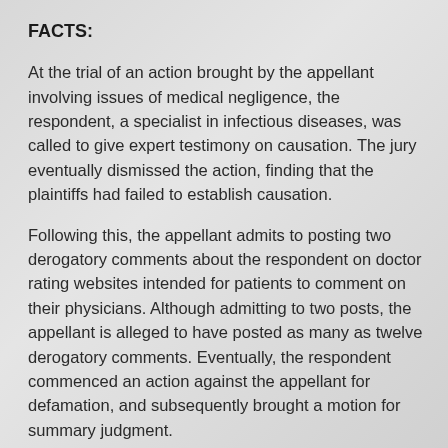FACTS:
At the trial of an action brought by the appellant involving issues of medical negligence, the respondent, a specialist in infectious diseases, was called to give expert testimony on causation. The jury eventually dismissed the action, finding that the plaintiffs had failed to establish causation.
Following this, the appellant admits to posting two derogatory comments about the respondent on doctor rating websites intended for patients to comment on their physicians. Although admitting to two posts, the appellant is alleged to have posted as many as twelve derogatory comments. Eventually, the respondent commenced an action against the appellant for defamation, and subsequently brought a motion for summary judgment.
More than six months following the commencement of the action, the appellant served motion materials to dismiss